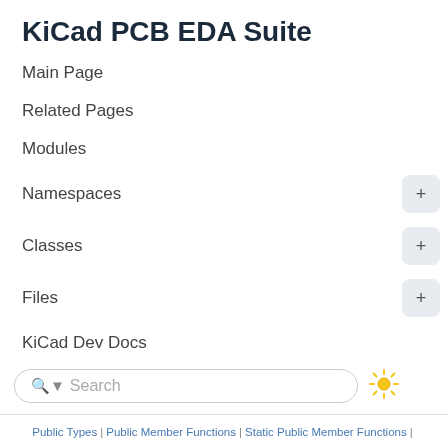KiCad PCB EDA Suite
Main Page
Related Pages
Modules
Namespaces
Classes
Files
KiCad Dev Docs
Search
Public Types | Public Member Functions | Static Public Member Functions | Static Public Attributes | Protected Types | Protected Member Functions |
SYMBOL_LIB_TABLE_GRID